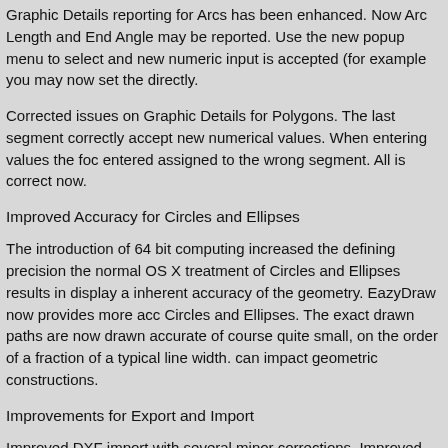Graphic Details reporting for Arcs has been enhanced. Now Arc Length and End Angle may be reported. Use the new popup menu to select and new numeric input is accepted (for example you may now set the directly.
Corrected issues on Graphic Details for Polygons. The last segment correctly accept new numerical values. When entering values the foc entered assigned to the wrong segment. All is correct now.
Improved Accuracy for Circles and Ellipses
The introduction of 64 bit computing increased the defining precision the normal OS X treatment of Circles and Ellipses results in display a inherent accuracy of the geometry. EazyDraw now provides more acc Circles and Ellipses. The exact drawn paths are now drawn accurate of course quite small, on the order of a fraction of a typical line width. can impact geometric constructions.
Improvements for Export and Import
Improved DXF import with several minor corrections. Improved the en Several classes of corruption that would previously cause a crash no an error message. The new error messages report the line number fo easily investigate and correct the problem with a text editor.
Improved DXF import with added support for different text encodings. encoded text file. However, comments and text that are part of the dr english/latin languages. There is a semi-defined DXF header variable encoding, the variable has a Windows CodePage value. EazyDraw n will use Windows 1252 CodePage (primarily for German language...